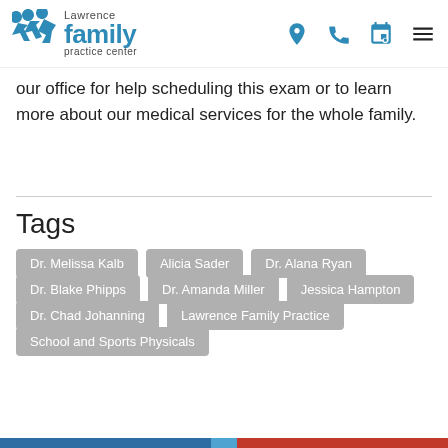[Figure (logo): Lawrence Family Practice Center logo with blue stylized figure icon]
our office for help scheduling this exam or to learn more about our medical services for the whole family.
Tags
Dr. Melissa Kalb
Alicia Sader
Dr. Alana Ryan
Dr. Blake Phipps
Dr. Amanda Miller
Jessica Hampton
Dr. Chad Johanning
Lawrence Family Practice
School and Sports Physicals